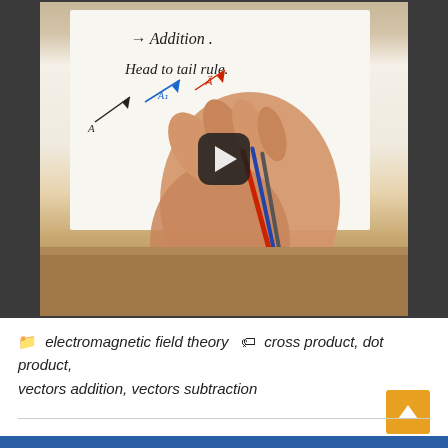[Figure (screenshot): Video thumbnail showing a hand holding pens and writing on paper. The paper shows handwritten text: '→ Addition: Head to tail rule.' with vector diagrams. A YouTube-style play button overlay is visible in the center.]
electromagnetic field theory   cross product, dot product, vectors addition, vectors subtraction